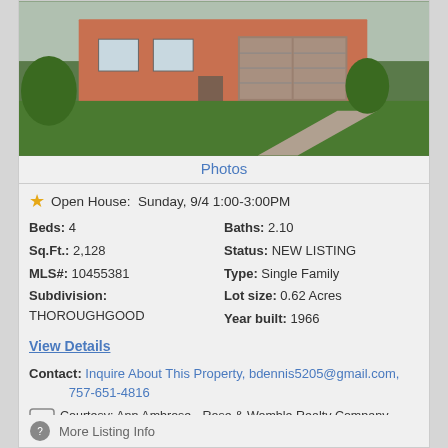[Figure (photo): Exterior photo of a single-family brick house with green lawn and concrete driveway]
Photos
Open House: Sunday, 9/4 1:00-3:00PM
Beds: 4
Baths: 2.10
Sq.Ft.: 2,128
Status: NEW LISTING
MLS#: 10455381
Type: Single Family
Subdivision: THOROUGHGOOD
Lot size: 0.62 Acres
Year built: 1966
View Details
Contact: Inquire About This Property, bdennis5205@gmail.com, 757-651-4816
Courtesy: Ann Ambrose - Rose & Womble Realty Company Ann Ambrose
Request Info
Save Property